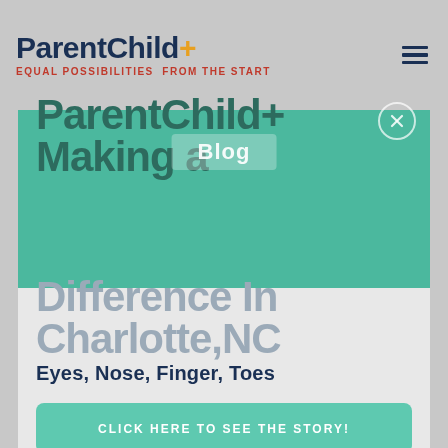[Figure (logo): ParentChild+ logo with tagline 'Equal Possibilities From The Start']
ParentChild+ Making a Difference In Charlotte, NC
Blog
Eyes, Nose, Finger, Toes
CLICK HERE TO SEE THE STORY!
SHARE